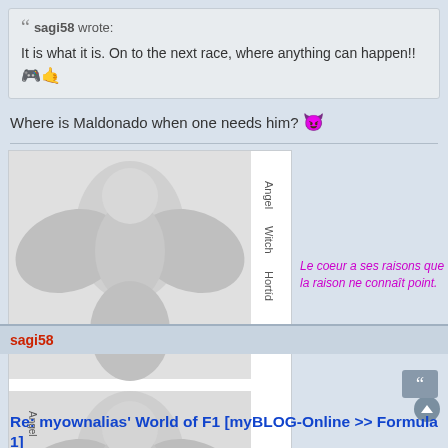sagi58 wrote: It is what it is. On to the next race, where anything can happen!! 🎮👍
Where is Maldonado when one needs him? 😈
[Figure (illustration): Two illustrated angel/demon female figures with wings, shown twice (top and bottom), with vertical text 'Angel Witch Hortíd' on the side. Below the images is text in magenta/pink: 'Le coeur a ses raisons que la raison ne connaît point.']
sagi58
Re: myownalias' World of F1 [myBLOG-Online >> Formula 1]